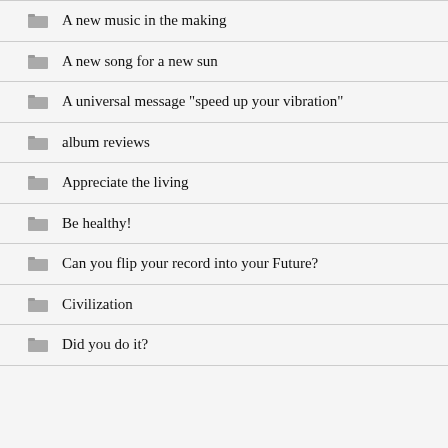A new music in the making
A new song for a new sun
A universal message "speed up your vibration"
album reviews
Appreciate the living
Be healthy!
Can you flip your record into your Future?
Civilization
Did you do it?